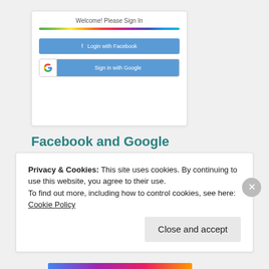[Figure (screenshot): Screenshot of a sign-in page with 'Welcome! Please Sign In' header, a rainbow colored bar, a blue 'Login with Facebook' button, and a 'Sign in with Google' button.]
Facebook and Google Login SDK integration with Django.
May 17, 2017
In "Auth"
Privacy & Cookies: This site uses cookies. By continuing to use this website, you agree to their use.
To find out more, including how to control cookies, see here: Cookie Policy
Close and accept